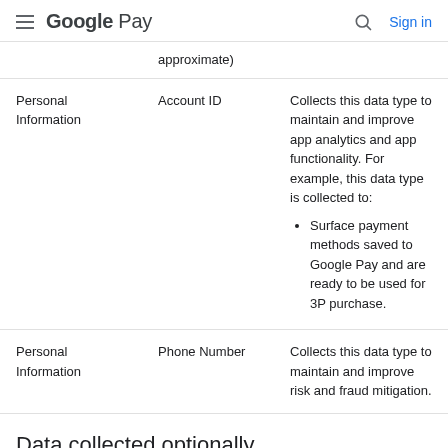Google Pay  Sign in
| Category | Data Type | Purpose |
| --- | --- | --- |
|  | approximate) |  |
| Personal Information | Account ID | Collects this data type to maintain and improve app analytics and app functionality. For example, this data type is collected to:
• Surface payment methods saved to Google Pay and are ready to be used for 3P purchase. |
| Personal Information | Phone Number | Collects this data type to maintain and improve risk and fraud mitigation. |
Data collected optionally